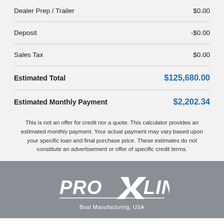| Item | Amount |
| --- | --- |
| Dealer Prep / Trailer | $0.00 |
| Deposit | -$0.00 |
| Sales Tax | $0.00 |
| Estimated Total | $125,680.00 |
| Estimated Monthly Payment | $2,202.34 |
This is not an offer for credit nor a quote. This calculator provides an estimated monthly payment. Your actual payment may vary based upon your specific loan and final purchase price. These estimates do not constitute an advertisement or offer of specific credit terms.
[Figure (logo): Pro-Line Boat Manufacturing USA logo in white on gray background]
(252) 220-0122
Accept and Close ✕
Your browser settings do not allow cross-site tracking for advertising. Click on this page to allow AdRoll to use cross-site tracking to tailor ads to you. Learn more or opt out of this AdRoll tracking by clicking here. This message only appears once.